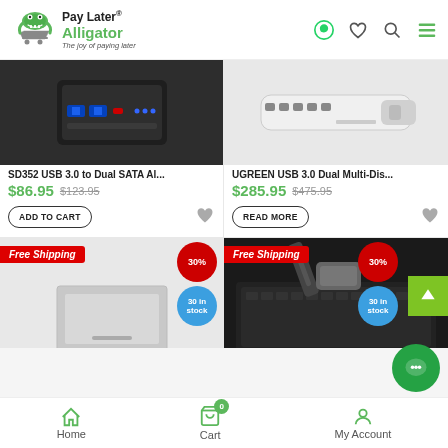[Figure (logo): Pay Later Alligator logo with crocodile mascot and shopping cart, tagline: The joy of paying later]
[Figure (photo): SD352 USB 3.0 to Dual SATA hard drive adapter device, dark color]
SD352 USB 3.0 to Dual SATA Al...
$86.95  $123.95
ADD TO CART
[Figure (photo): UGREEN USB 3.0 Dual Multi-Display adapter, white color]
UGREEN USB 3.0 Dual Multi-Dis...
$285.95  $475.95
READ MORE
Free Shipping
30%
30 in stock
[Figure (photo): Bottom-left product image, gray device partially visible, Free Shipping badge]
Free Shipping
30%
30 in stock
[Figure (photo): Bottom-right product image, USB cables/adapters on laptop keyboard]
Home
Cart
My Account